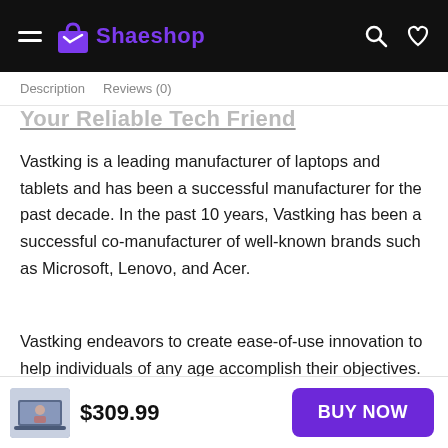Shaeshop
Description   Reviews (0)
Your Reliable Tech Friend
Vastking is a leading manufacturer of laptops and tablets and has been a successful manufacturer for the past decade. In the past 10 years, Vastking has been a successful co-manufacturer of well-known brands such as Microsoft, Lenovo, and Acer.
Vastking endeavors to create ease-of-use innovation to help individuals of any age accomplish their objectives.
$309.99
BUY NOW